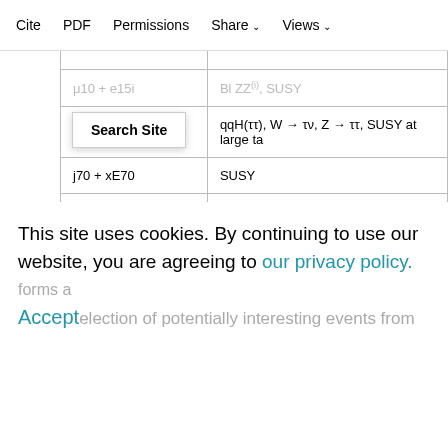| Trigger signature | Physics motivation |
| --- | --- |
| τ35i + xE45 | qqH(ττ), W → τν, Z → ττ, SUSY at large ta |
| j70 + xE70 | SUSY |
| xE200 | new phenomena |
| E1000 | new phenomena |
| jE1000 | new phenomena |
| 2μ6 + μ⁺μ⁻ + mass cuts | rare b-hadron decays (B → μμX) and B → |
This site uses cookies. By continuing to use our website, you are agreeing to our privacy policy. Accept
election of potentially interesting events from